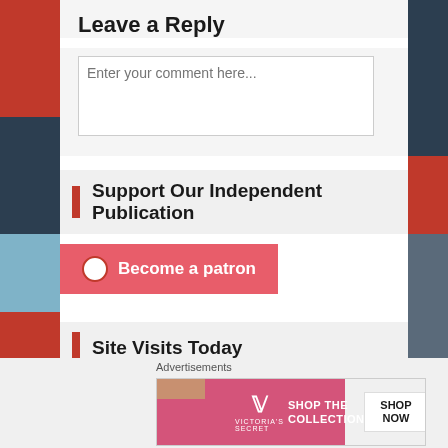Leave a Reply
Enter your comment here...
Support Our Independent Publication
Become a patron
Site Visits Today
1,147,064 hits
Advertisements
[Figure (screenshot): Victoria's Secret advertisement banner: pink background with woman photo, VS logo, 'SHOP THE COLLECTION' text and 'SHOP NOW' button]